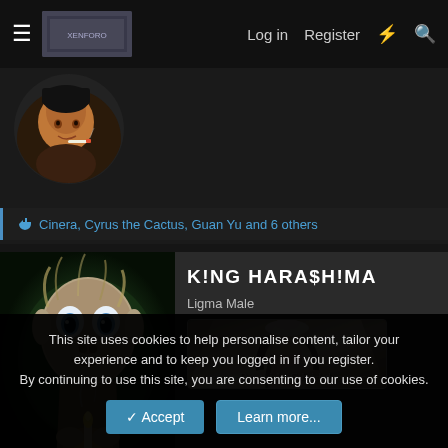Log in  Register
[Figure (screenshot): Forum website navigation bar with hamburger menu, logo, Log in, Register, lightning bolt icon, and search icon]
[Figure (photo): Profile avatar: man with cigarette, dark background]
Cinera, Cyrus the Cactus, Guan Yu and 6 others
K!NG HARA$H!MA
Ligma Male
[Figure (illustration): Gollum from Lord of the Rings holding a candle, green-tinted dark scene]
[Figure (illustration): Devil Child badge - anime girl in white hat with text 'Devil Child']
This site uses cookies to help personalise content, tailor your experience and to keep you logged in if you register.
By continuing to use this site, you are consenting to our use of cookies.
Accept  Learn more...